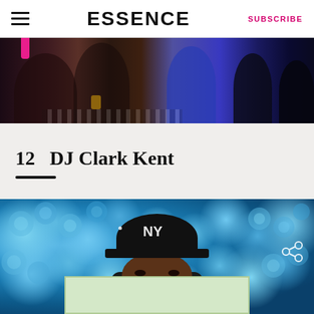ESSENCE  |  SUBSCRIBE
[Figure (photo): Partial photo of people at an event, dark background with figures in various colored outfits including blue]
12  DJ Clark Kent
[Figure (photo): DJ Clark Kent wearing a black NY Yankees cap in front of a wall of blue roses, with a share icon overlay and a light green advertisement banner at the bottom]